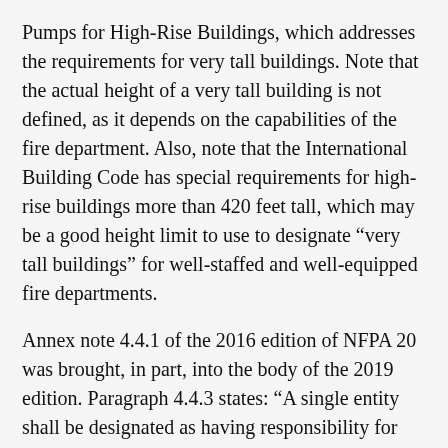Pumps for High-Rise Buildings, which addresses the requirements for very tall buildings. Note that the actual height of a very tall building is not defined, as it depends on the capabilities of the fire department. Also, note that the International Building Code has special requirements for high-rise buildings more than 420 feet tall, which may be a good height limit to use to designate “very tall buildings” for well-staffed and well-equipped fire departments.
Annex note 4.4.1 of the 2016 edition of NFPA 20 was brought, in part, into the body of the 2019 edition. Paragraph 4.4.3 states: “A single entity shall be designated as having responsibility for acceptable unit performance of the pump, driver, controller and transfer switch equipment as required by this standard.”
This new wording was a compromise, as committee